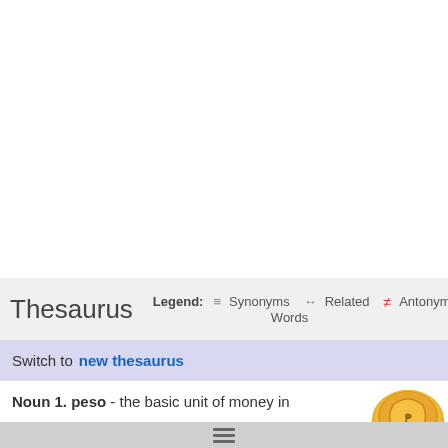Thesaurus
Legend: ≡ Synonyms ↔ Related Words ≠ Antonyms
Switch to new thesaurus
Noun 1. peso - the basic unit of money in